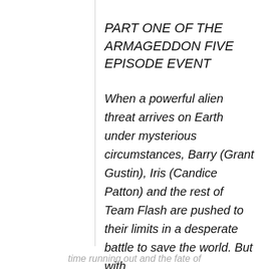PART ONE OF THE ARMAGEDDON FIVE EPISODE EVENT
When a powerful alien threat arrives on Earth under mysterious circumstances, Barry (Grant Gustin), Iris (Candice Patton) and the rest of Team Flash are pushed to their limits in a desperate battle to save the world. But with
time running out and the fate of